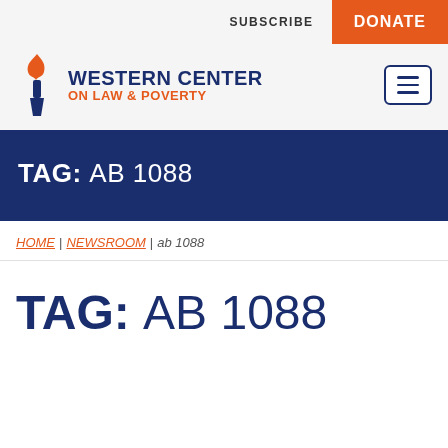SUBSCRIBE | DONATE
[Figure (logo): Western Center on Law & Poverty torch logo with organization name]
TAG: AB 1088
HOME | NEWSROOM | ab 1088
TAG: AB 1088